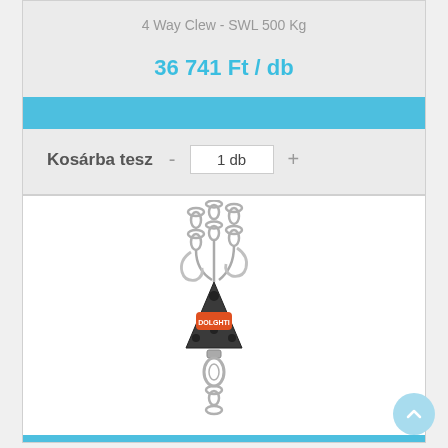4 Way Clew - SWL 500 Kg
36 741 Ft / db
Kosárba tesz - 1 db +
[Figure (photo): 4 Way Clew rigging hardware with chains and swivel, branded with orange label, photographed on white background]